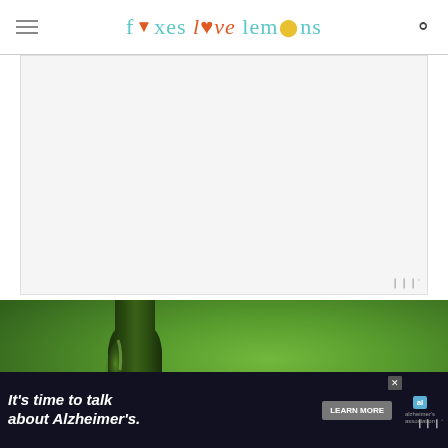foxes love lemons
[Figure (other): Advertisement placeholder — light gray box with watermark logo]
[Figure (photo): Close-up of a dark green glass wine bottle against a blurred green grass background]
[Figure (other): Advertisement banner: It's time to talk about Alzheimer's. Learn More button. Alzheimer's Association logo. Close button.]